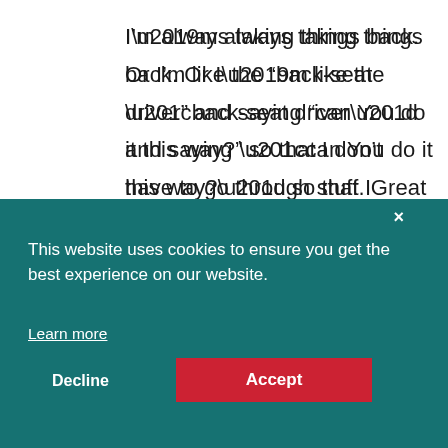I’m always taking things back. Or I’m like the “back-seat driver” and saying “can You do it this way?” so that I don’t have to go through stuff. Great post and food for thought.
This website uses cookies to ensure you get the best experience on our website.
Learn more
Decline
Accept